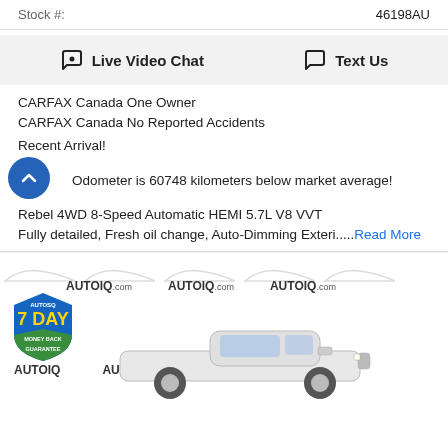Stock #: 46198AU
Live Video Chat   Text Us
CARFAX Canada One Owner
CARFAX Canada No Reported Accidents
Recent Arrival!
Odometer is 60748 kilometers below market average!
Rebel 4WD 8-Speed Automatic HEMI 5.7L V8 VVT
Fully detailed, Fresh oil change, Auto-Dimming Exteri.....Read More
[Figure (photo): Car listing photo with AutoIQ.com watermarks and a 7 Day Money Back Guarantee badge, showing a white pickup truck (Ram Rebel)]